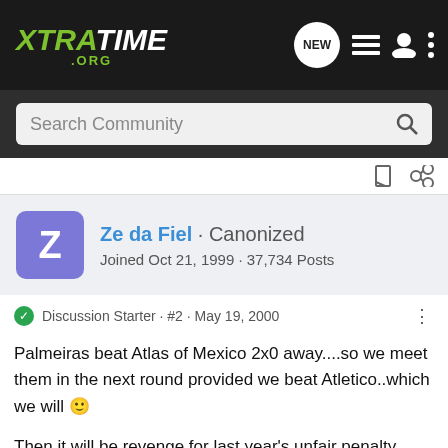XTRATIME .ORG — navigation bar with NEW, list, user, and menu icons
Search Community
Discussion Starter · #2 · May 19, 2000
Ze da Fiel · Canonized
Joined Oct 21, 1999 · 37,734 Posts
Palmeiras beat Atlas of Mexico 2x0 away....so we meet them in the next round provided we beat Atletico..which we will 🙂
Then it will be revenge for last year's unfair penalty defeat!
------------------
GAVIOES DA FIEL
Pelo Corinthians, com muito amor...ate o fim.
LUB - THE WORLD IS OURS!!!